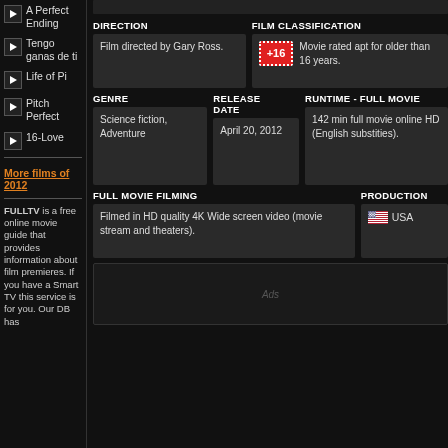A Perfect Ending
Tengo ganas de ti
Life of Pi
Pitch Perfect
16-Love
More films of 2012
FULLTV is a free online movie guide that provides information about film premieres. If you have a Smart TV this service is for you. Our DB has
DIRECTION
Film directed by Gary Ross.
FILM CLASSIFICATION
+16 Movie rated apt for older than 16 years.
GENRE
Science fiction, Adventure
RELEASE DATE
April 20, 2012
RUNTIME - FULL MOVIE
142 min full movie online HD (English substities).
FULL MOVIE FILMING
Filmed in HD quality 4K Wide screen video (movie stream and theaters).
PRODUCTION
USA
Ads